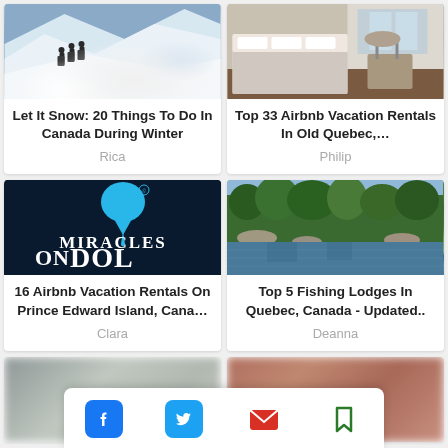[Figure (photo): Hikers climbing a snowy mountain slope in winter]
Let It Snow: 20 Things To Do In Canada During Winter
Rica
[Figure (photo): Bright bedroom interior with bed and window, Airbnb rental]
Top 33 Airbnb Vacation Rentals In Old Quebec,...
Philip
[Figure (photo): Miracles on Dolly logo - dark background with blue drip shape and white text]
16 Airbnb Vacation Rentals On Prince Edward Island, Cana…
Clara
[Figure (photo): Lake scene with trees and rocky shoreline, fishing lodge]
Top 5 Fishing Lodges In Quebec, Canada - Updated..
Deanna
[Figure (photo): Blurred grey/green image - partially visible card]
[Figure (photo): Blurred brown/red image - partially visible card]